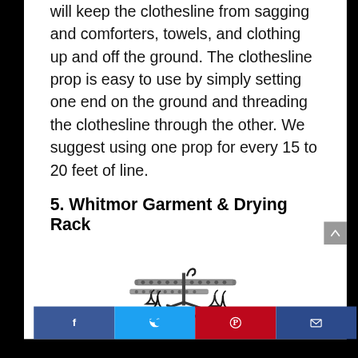will keep the clothesline from sagging and comforters, towels, and clothing up and off the ground. The clothesline prop is easy to use by simply setting one end on the ground and threading the clothesline through the other. We suggest using one prop for every 15 to 20 feet of line.
5. Whitmor Garment & Drying Rack
[Figure (photo): A Whitmor garment and drying rack with multiple horizontal bars and hanging clothes hooks, shown partially at the bottom of the page.]
Social sharing bar: Facebook, Twitter, Pinterest, Email